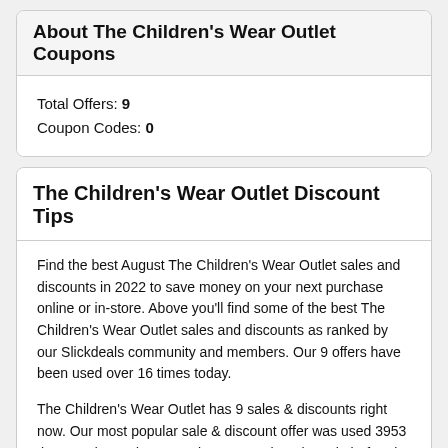About The Children's Wear Outlet Coupons
Total Offers: 9
Coupon Codes: 0
The Children's Wear Outlet Discount Tips
Find the best August The Children's Wear Outlet sales and discounts in 2022 to save money on your next purchase online or in-store. Above you'll find some of the best The Children's Wear Outlet sales and discounts as ranked by our Slickdeals community and members. Our 9 offers have been used over 16 times today.
The Children's Wear Outlet has 9 sales & discounts right now. Our most popular sale & discount offer was used 3953 times and saved 20%. Make sure to shop the sale before it ends.
Online coupons and in-store promo codes are one of the